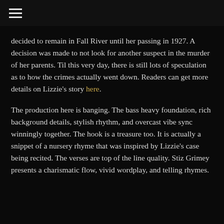☰
decided to remain in Fall River until her passing in 1927. A decision was made to not look for another suspect in the murder of her parents. Til this very day, there is still lots of speculation as to how the crimes actually went down. Readers can get more details on Lizzie's story here.
The production here is banging. The bass heavy foundation, rich background details, stylish rhythm, and overcast vibe sync winningly together. The hook is a treasure too. It is actually a snippet of a nursery rhyme that was inspired by Lizzie's case being recited. The verses are top of the line quality. Stiz Grimey presents a charismatic flow, vivid wordplay, and telling rhymes.